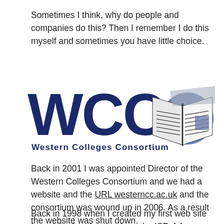Sometimes I think, why do people and companies do this? Then I remember I do this myself and sometimes you have little choice.
[Figure (logo): Western Colleges Consortium (WCC) logo — large blue WCC letters with an open book illustration and 'Western Colleges Consortium' text underneath]
Back in 2001 I was appointed Director of the Western Colleges Consortium and we had a website and the URL westerncc.ac.uk and the consortium was wound up in 2006. As a result the website was shut down.
Back in 1998 when I created my first web site I used the free hosting from the ISP. A few years later I moved hosting providers (as I was using too much bandwidth)